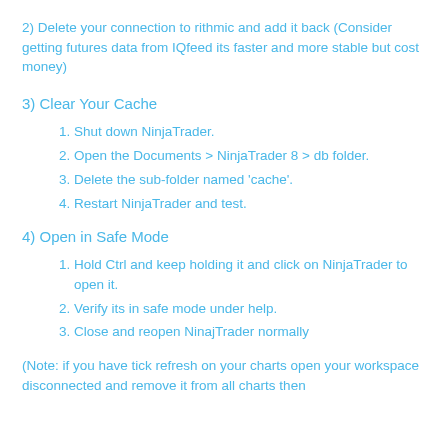2) Delete your connection to rithmic and add it back (Consider getting futures data from IQfeed its faster and more stable but cost money)
3) Clear Your Cache
1. Shut down NinjaTrader.
2. Open the Documents > NinjaTrader 8 > db folder.
3. Delete the sub-folder named 'cache'.
4. Restart NinjaTrader and test.
4) Open in Safe Mode
1. Hold Ctrl and keep holding it and click on NinjaTrader to open it.
2. Verify its in safe mode under help.
3. Close and reopen NinajTrader normally
(Note: if you have tick refresh on your charts open your workspace disconnected and remove it from all charts then